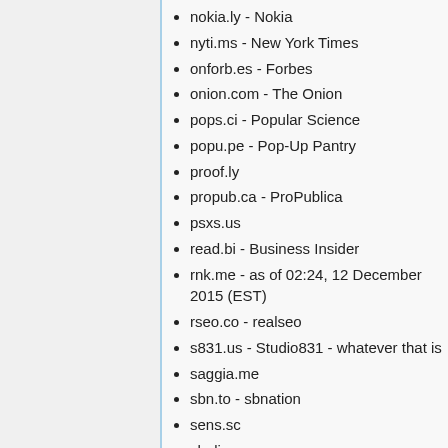nokia.ly - Nokia
nyti.ms - New York Times
onforb.es - Forbes
onion.com - The Onion
pops.ci - Popular Science
popu.pe - Pop-Up Pantry
proof.ly
propub.ca - ProPublica
psxs.us
read.bi - Business Insider
rnk.me - as of 02:24, 12 December 2015 (EST)
rseo.co - realseo
s831.us - Studio831 - whatever that is
saggia.me
sbn.to - sbnation
sens.sc
shr.li